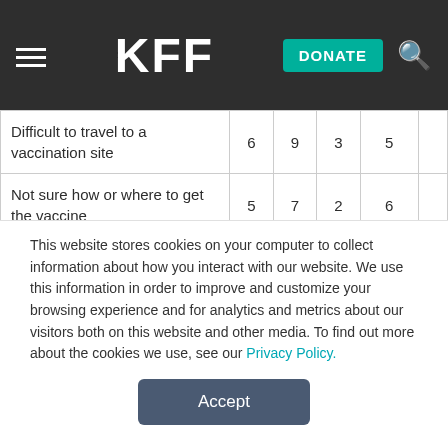KFF | DONATE
|  |  |  |  |  |  |
| --- | --- | --- | --- | --- | --- |
| Difficult to travel to a vaccination site | 6 | 9 | 3 | 5 |  |
| Not sure how or where to get the vaccine | 5 | 7 | 2 | 6 |  |
| Worried they will have to | 5 | 7 | 1 | 10 |  |
This website stores cookies on your computer to collect information about how you interact with our website. We use this information in order to improve and customize your browsing experience and for analytics and metrics about our visitors both on this website and other media. To find out more about the cookies we use, see our Privacy Policy.
Accept